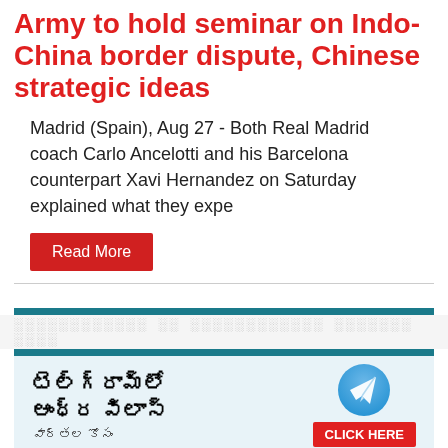Army to hold seminar on Indo-China border dispute, Chinese strategic ideas
Madrid (Spain), Aug 27 - Both Real Madrid coach Carlo Ancelotti and his Barcelona counterpart Xavi Hernandez on Saturday explained what they expe
Read More
[Figure (infographic): Telegram channel advertisement for Andhra Vilas news in Telugu script with Telegram logo and CLICK HERE button]
Cinema Vaarthalu
'ఆంటీ' అని పిలిస్తే కేసు పెట్టొచ్చా?
నిహారికకు మెగా ఫ్యామిలీ ఎంత కట్నం ఇచ్చిందో తెలుసా?